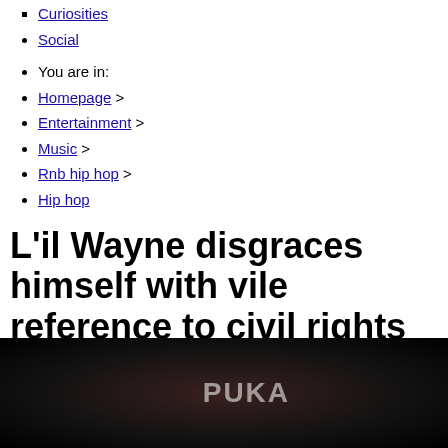Curiosities
Social
You are in:
Homepage >
Entertainment >
Music >
Rnb hip hop >
Hip hop
L'il Wayne disgraces himself with vile reference to civil rights murder
17/02/2013
[Figure (photo): Dark photograph, partially visible, appears to show a performer or event with text/logo visible in white letters on a dark background]